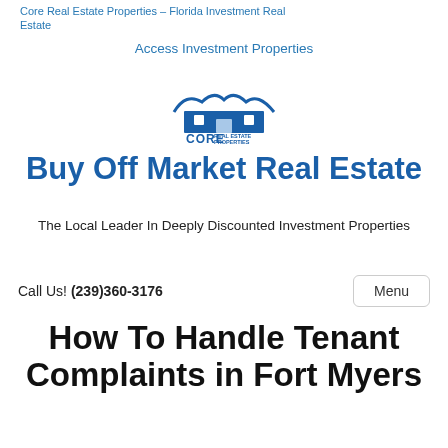Core Real Estate Properties – Florida Investment Real Estate
Access Investment Properties
[Figure (logo): Core Real Estate Properties logo — a house icon above the text CORE REAL ESTATE PROPERTIES]
Buy Off Market Real Estate
The Local Leader In Deeply Discounted Investment Properties
Call Us! (239)360-3176      Menu
How To Handle Tenant Complaints in Fort Myers